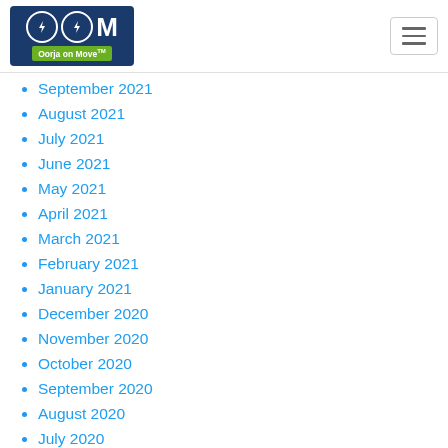Oorja on Move
September 2021
August 2021
July 2021
June 2021
May 2021
April 2021
March 2021
February 2021
January 2021
December 2020
November 2020
October 2020
September 2020
August 2020
July 2020
June 2020